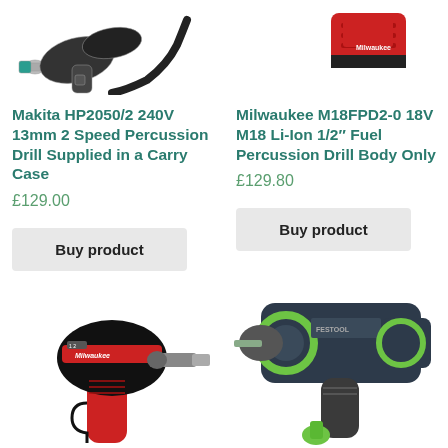[Figure (photo): Makita HP2050/2 percussion drill partial image at top left]
[Figure (photo): Milwaukee M18FPD2-0 percussion drill partial image at top right]
Makita HP2050/2 240V 13mm 2 Speed Percussion Drill Supplied in a Carry Case
£129.00
Buy product
Milwaukee M18FPD2-0 18V M18 Li-Ion 1/2" Fuel Percussion Drill Body Only
£129.80
Buy product
[Figure (photo): Milwaukee M12 red cordless drill driver bottom left]
[Figure (photo): Festool cordless percussion drill bottom right]